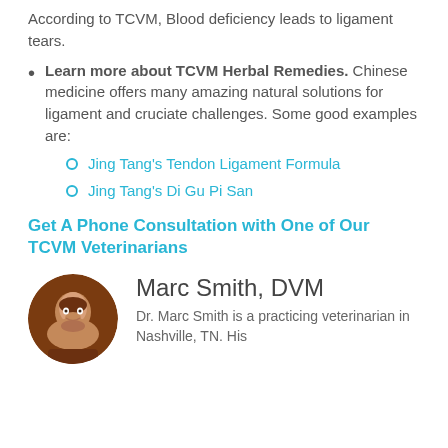According to TCVM, Blood deficiency leads to ligament tears.
Learn more about TCVM Herbal Remedies. Chinese medicine offers many amazing natural solutions for ligament and cruciate challenges. Some good examples are:
Jing Tang's Tendon Ligament Formula
Jing Tang's Di Gu Pi San
Get A Phone Consultation with One of Our TCVM Veterinarians
Marc Smith, DVM
Dr. Marc Smith is a practicing veterinarian in Nashville, TN. His